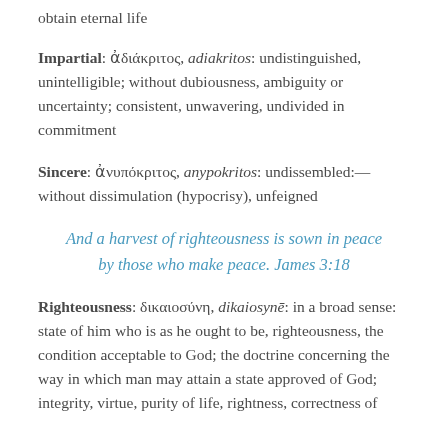obtain eternal life
Impartial: ἀδιάκριτος, adiakritos: undistinguished, unintelligible; without dubiousness, ambiguity or uncertainty; consistent, unwavering, undivided in commitment
Sincere: ἀνυπόκριτος, anypokritos: undissembled:—without dissimulation (hypocrisy), unfeigned
And a harvest of righteousness is sown in peace by those who make peace. James 3:18
Righteousness: δικαιοσύνη, dikaiosynē: in a broad sense: state of him who is as he ought to be, righteousness, the condition acceptable to God; the doctrine concerning the way in which man may attain a state approved of God; integrity, virtue, purity of life, rightness, correctness of